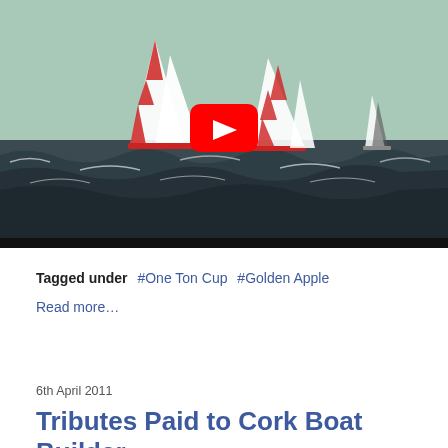[Figure (screenshot): YouTube video thumbnail showing sailboats with red and white striped spinnakers racing on rough seas. A YouTube play button (red rectangle with white triangle) is overlaid in the center.]
Tagged under  #One Ton Cup  #Golden Apple
Read more…
6th April 2011
Tributes Paid to Cork Boat Builder